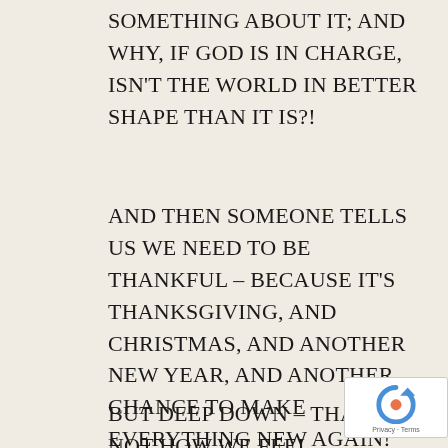SOMETHING ABOUT IT; AND WHY, IF GOD IS IN CHARGE, ISN'T THE WORLD IN BETTER SHAPE THAN IT IS?!
AND THEN SOMEONE TELLS US WE NEED TO BE THANKFUL – BECAUSE IT'S THANKSGIVING, AND CHRISTMAS, AND ANOTHER NEW YEAR, AND ANOTHER CHANCE TO MAKE EVERYTHING NEW AGAIN!
BUT DEEP DOWN – THAT'S NOT HOW WE FEEL.